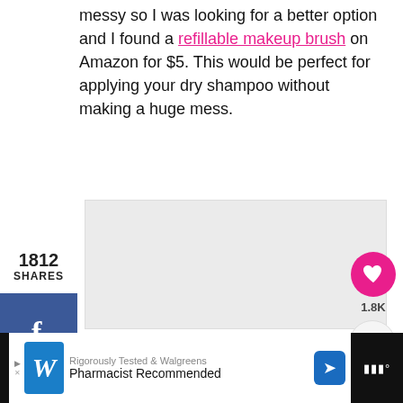messy so I was looking for a better option and I found a refillable makeup brush on Amazon for $5. This would be perfect for applying your dry shampoo without making a huge mess.
1812 SHARES
[Figure (screenshot): Social share sidebar with Facebook (blue), Twitter (light blue), and Pinterest (red) buttons]
[Figure (photo): Large image area placeholder (light gray)]
[Figure (screenshot): Floating action buttons: pink heart button with 1.8K count, and share button]
[Figure (screenshot): Advertisement bar at bottom: Walgreens ad - Rigorously Tested & Walgreens Pharmacist Recommended]